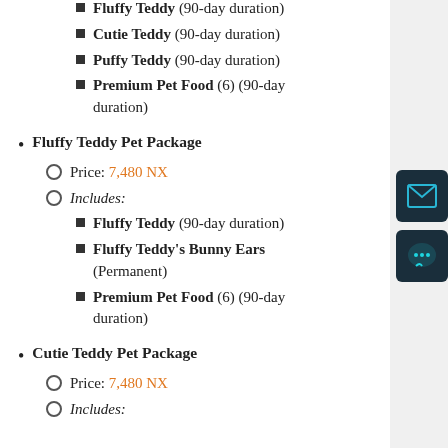Fluffy Teddy (90-day duration)
Cutie Teddy (90-day duration)
Puffy Teddy (90-day duration)
Premium Pet Food (6) (90-day duration)
Fluffy Teddy Pet Package
Price: 7,480 NX
Includes:
Fluffy Teddy (90-day duration)
Fluffy Teddy's Bunny Ears (Permanent)
Premium Pet Food (6) (90-day duration)
Cutie Teddy Pet Package
Price: 7,480 NX
Includes: